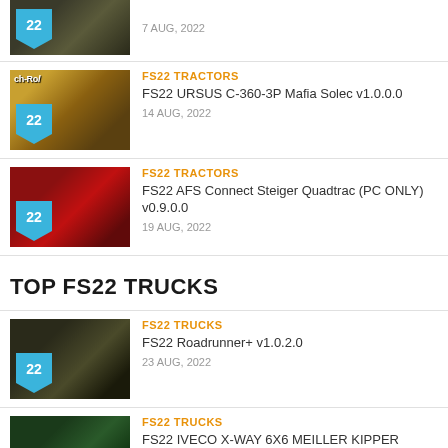7 AUG, 2022
FS22 TRACTORS — FS22 URSUS C-360-3P Mafia Solec v1.0.0.0 — 14 AUG, 2022
FS22 TRACTORS — FS22 AFS Connect Steiger Quadtrac (PC ONLY) v0.9.0.0 — 19 AUG, 2022
TOP FS22 TRUCKS
FS22 TRUCKS — FS22 Roadrunner+ v1.0.2.0 — 23 AUG, 2022
FS22 TRUCKS — FS22 IVECO X-WAY 6X6 MEILLER KIPPER V1.0.0.0